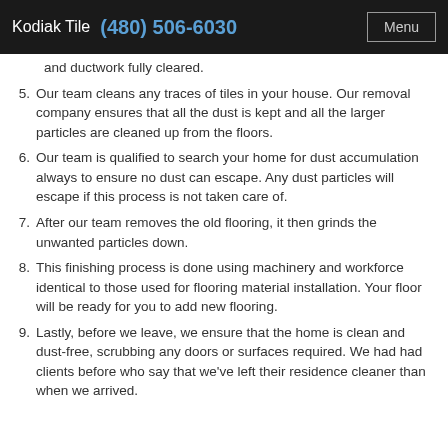Kodiak Tile  (480) 506-6030  Menu
and ductwork fully cleared.
5. Our team cleans any traces of tiles in your house. Our removal company ensures that all the dust is kept and all the larger particles are cleaned up from the floors.
6. Our team is qualified to search your home for dust accumulation always to ensure no dust can escape. Any dust particles will escape if this process is not taken care of.
7. After our team removes the old flooring, it then grinds the unwanted particles down.
8. This finishing process is done using machinery and workforce identical to those used for flooring material installation. Your floor will be ready for you to add new flooring.
9. Lastly, before we leave, we ensure that the home is clean and dust-free, scrubbing any doors or surfaces required. We had had clients before who say that we've left their residence cleaner than when we arrived.